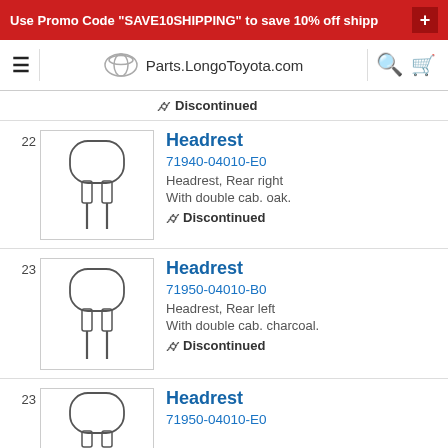Use Promo Code "SAVE10SHIPPING" to save 10% off shipp
Parts.LongoToyota.com
Discontinued
22 Headrest 71940-04010-E0 Headrest, Rear right With double cab. oak. Discontinued
23 Headrest 71950-04010-B0 Headrest, Rear left With double cab. charcoal. Discontinued
23 Headrest 71950-04010-E0